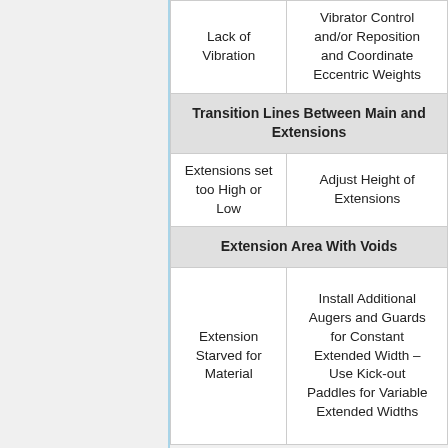| Cause | Remedy |
| --- | --- |
| Lack of Vibration | Vibrator Control and/or Reposition and Coordinate Eccentric Weights |
| Transition Lines Between Main and Extensions |  |
| Extensions set too High or Low | Adjust Height of Extensions |
| Extension Area With Voids |  |
| Extension Starved for Material | Install Additional Augers and Guards for Constant Extended Width – Use Kick-out Paddles for Variable Extended Widths |